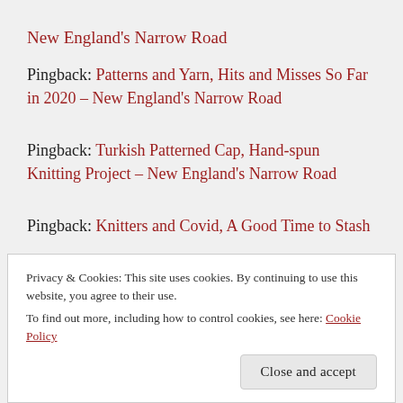New England's Narrow Road
Pingback: Patterns and Yarn, Hits and Misses So Far in 2020 – New England's Narrow Road
Pingback: Turkish Patterned Cap, Hand-spun Knitting Project – New England's Narrow Road
Pingback: Knitters and Covid, A Good Time to Stash
Privacy & Cookies: This site uses cookies. By continuing to use this website, you agree to their use. To find out more, including how to control cookies, see here: Cookie Policy
Close and accept